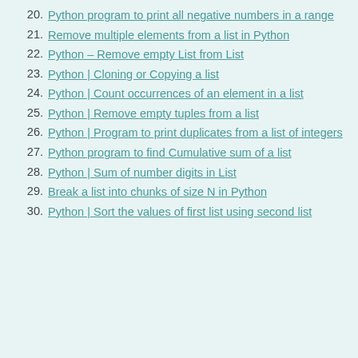20. Python program to print all negative numbers in a range
21. Remove multiple elements from a list in Python
22. Python – Remove empty List from List
23. Python | Cloning or Copying a list
24. Python | Count occurrences of an element in a list
25. Python | Remove empty tuples from a list
26. Python | Program to print duplicates from a list of integers
27. Python program to find Cumulative sum of a list
28. Python | Sum of number digits in List
29. Break a list into chunks of size N in Python
30. Python | Sort the values of first list using second list